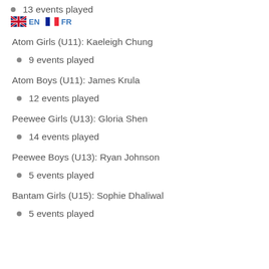13 events played
EN  FR
Atom Girls (U11): Kaeleigh Chung
9 events played
Atom Boys (U11): James Krula
12 events played
Peewee Girls (U13): Gloria Shen
14 events played
Peewee Boys (U13): Ryan Johnson
5 events played
Bantam Girls (U15): Sophie Dhaliwal
5 events played